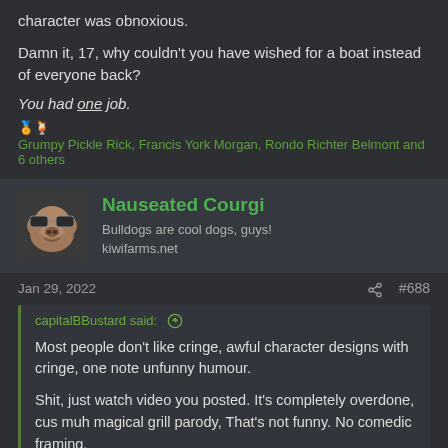character was obnoxious.
Damn it, 17, why couldn't you have wished for a boat instead of everyone back?
You had one job.
🏅🍹 Grumpy Pickle Rick, Francis York Morgan, Rondo Richter Belmont and 6 others
Nauseated Courgi
Bulldogs are cool dogs, guys!
kiwifarms.net
Jan 29, 2022  #688
capitalBBustard said:
Most people don't like cringe, awful character designs with cringe, one note unfunny humour.
Shit, just watch video you posted. It's completely overdone, cus muh magical grill parody, That's not funny. No comedic framing,